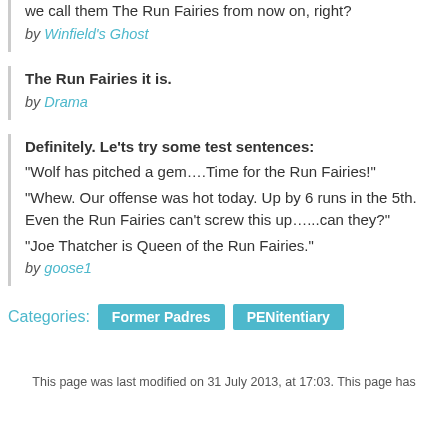we call them The Run Fairies from now on, right?
by Winfield's Ghost
The Run Fairies it is.
by Drama
Definitely. Le'ts try some test sentences:
"Wolf has pitched a gem….Time for the Run Fairies!"
"Whew. Our offense was hot today. Up by 6 runs in the 5th. Even the Run Fairies can't screw this up…...can they?"
"Joe Thatcher is Queen of the Run Fairies."
by goose1
Categories: Former Padres  PENitentiary
This page was last modified on 31 July 2013, at 17:03. This page has